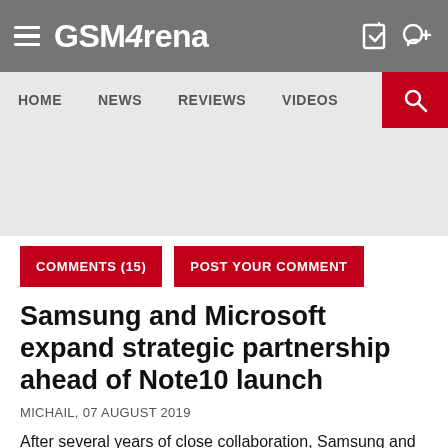GSM4rena
HOME | NEWS | REVIEWS | VIDEOS
[Figure (other): Advertisement placeholder area (grey box)]
COMMENTS (15)   POST YOUR COMMENT
Samsung and Microsoft expand strategic partnership ahead of Note10 launch
MICHAIL, 07 AUGUST 2019
After several years of close collaboration, Samsung and